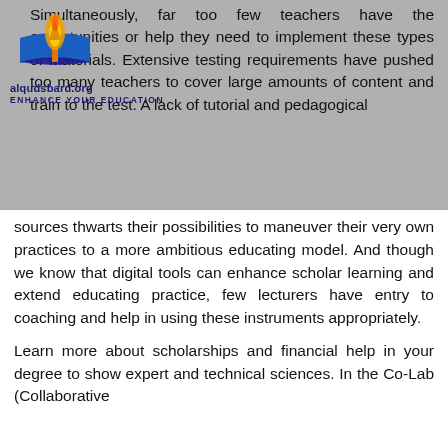[Figure (logo): alqudsbard.org logo with torch/book icon in orange and blue, URL 'alqudsbard.org' and tagline 'ENHANCE YOUR EDUCATION']
Simultaneously, far too few teachers have the opportunities or help they need to implement these types of materials. Extensive testing requirements have pushed too many teachers to cover large amounts of content and train to the test. A lack of tutorial and pedagogical sources thwarts their possibilities to maneuver their very own practices to a more ambitious educating model. And though we know that digital tools can enhance scholar learning and extend educating practice, few lecturers have entry to coaching and help in using these instruments appropriately.
Learn more about scholarships and financial help in your degree to show expert and technical sciences. In the Co-Lab (Collaborative